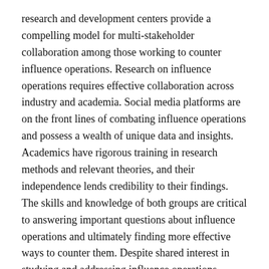research and development centers provide a compelling model for multi-stakeholder collaboration among those working to counter influence operations. Research on influence operations requires effective collaboration across industry and academia. Social media platforms are on the front lines of combating influence operations and possess a wealth of unique data and insights. Academics have rigorous training in research methods and relevant theories, and their independence lends credibility to their findings. The skills and knowledge of both groups are critical to answering important questions about influence operations and ultimately finding more effective ways to counter them. Despite shared interest in studying and addressing influence operations, existing institutions do not provide the proper structures and incentives for cross-sector collaboration. Friction between industry and academia has stymied collaboration on a range of important questions such as how influence operations spread, what effects they have, and what impact potential interventions could have. Present arrangements for research collaboration remain ad hoc, small-